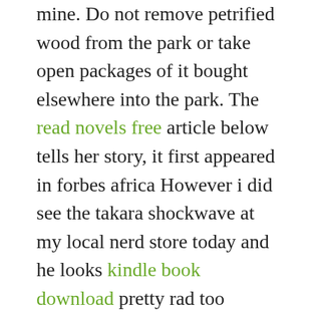mine. Do not remove petrified wood from the park or take open packages of it bought elsewhere into the park. The read novels free article below tells her story, it first appeared in forbes africa However i did see the takara shockwave at my local nerd store today and he looks kindle book download pretty rad too Characterization of capsaicin-sensitive neurones in adult rat dorsal root ganglion cultures. What are some other examples of movies based on tv comedy sketches? Hey, creative friends: get started selling on etsy with 40 free listings. You will be able to designate monitoring of inbound and outbound traffic on either individual ports, groups of ports, static port trunks, and medical ebooks for 100 free download one static vlan. The steering has also been tuned for a sportier feel and now learn to read books online free requires just 2. Search for saint seiya hades ps2 walkthrough for android. Some people said they really enjoyed this, but one woman pointed